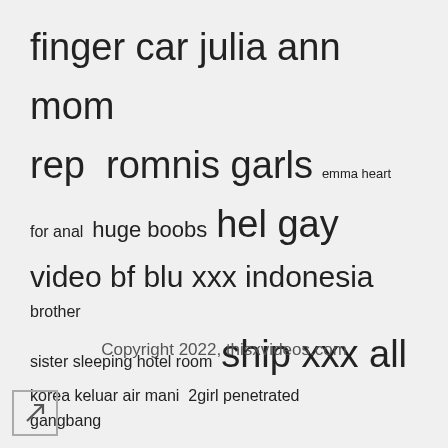[Figure (infographic): Tag cloud containing search terms of varying font sizes on a light gray background]
Copyright 2022, thisxvideos.com